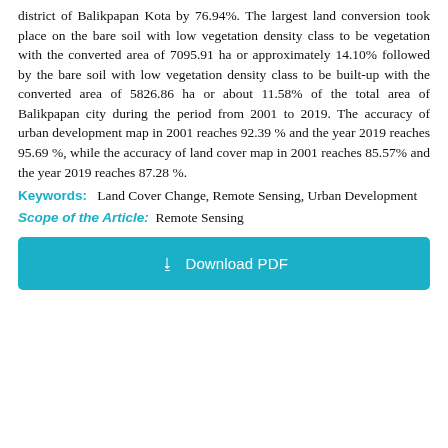district of Balikpapan Kota by 76.94%. The largest land conversion took place on the bare soil with low vegetation density class to be vegetation with the converted area of 7095.91 ha or approximately 14.10% followed by the bare soil with low vegetation density class to be built-up with the converted area of 5826.86 ha or about 11.58% of the total area of Balikpapan city during the period from 2001 to 2019. The accuracy of urban development map in 2001 reaches 92.39 % and the year 2019 reaches 95.69 %, while the accuracy of land cover map in 2001 reaches 85.57% and the year 2019 reaches 87.28 %.
Keywords: Land Cover Change, Remote Sensing, Urban Development
Scope of the Article: Remote Sensing
[Figure (other): Download PDF button]